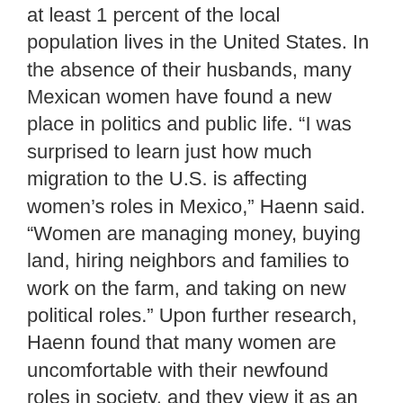at least 1 percent of the local population lives in the United States. In the absence of their husbands, many Mexican women have found a new place in politics and public life. “I was surprised to learn just how much migration to the U.S. is affecting women’s roles in Mexico,” Haenn said. “Women are managing money, buying land, hiring neighbors and families to work on the farm, and taking on new political roles.” Upon further research, Haenn found that many women are uncomfortable with their newfound roles in society, and they view it as an additional burden to their already demanding lives.
Haenn also documented women’s new financial role in the family. “Women have to develop a thick skin,” Haenn explained. “They are becoming objects of